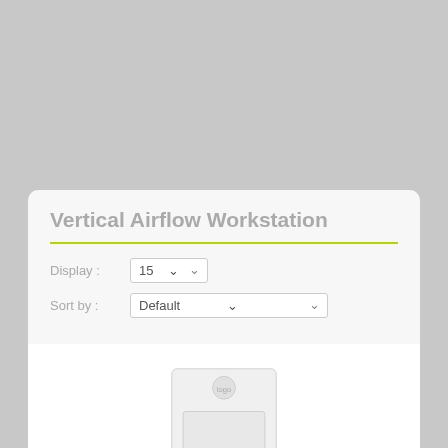Vertical Airflow Workstation
Display : 15
Sort by : Default
[Figure (photo): A vertical airflow workstation product image — a white rectangular cabinet unit with a logo at top and ventilation components at the bottom.]